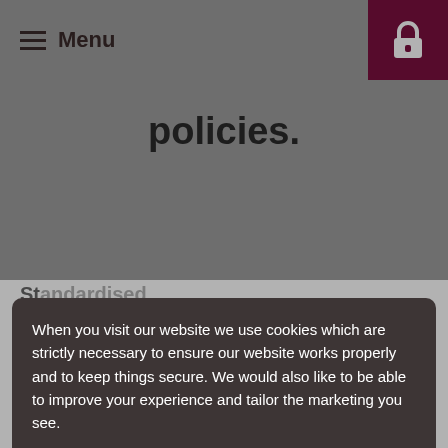Menu
policies.
St...
name and office address. If you change your mind, you'll be able to easily opt out at any time.
| When | Subject | Action required? |  |
| --- | --- | --- | --- |
|  |  |  |  |
When you visit our website we use cookies which are strictly necessary to ensure our website works properly and to keep things secure. We would also like to be able to improve your experience and tailor the marketing you see.